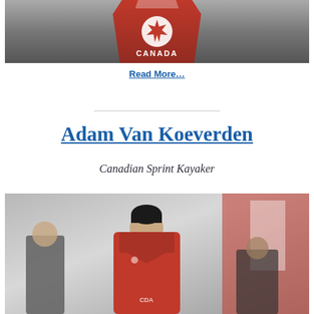[Figure (photo): Person wearing a red Canada hockey jersey, cropped to show torso, against a grey background]
Read More…
Adam Van Koeverden
Canadian Sprint Kayaker
[Figure (photo): Adam Van Koeverden in a red Canada jacket at an event with Canadian flags in the background, shaking hands with someone]